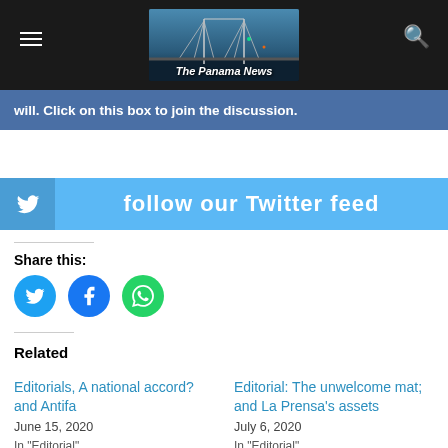The Panama News
[Figure (screenshot): The Panama News website header with bridge photo and dark navigation bar with hamburger menu and search icon]
will. Click on this box to join the discussion.
[Figure (other): Follow our Twitter feed banner with Twitter bird icon on blue background]
Share this:
[Figure (other): Social share buttons: Twitter (blue circle), Facebook (dark blue circle), WhatsApp (green circle)]
Related
Editorials, A national accord? and Antifa
June 15, 2020
In "Editorial"
Editorial: The unwelcome mat; and La Prensa's assets
July 6, 2020
In "Editorial"